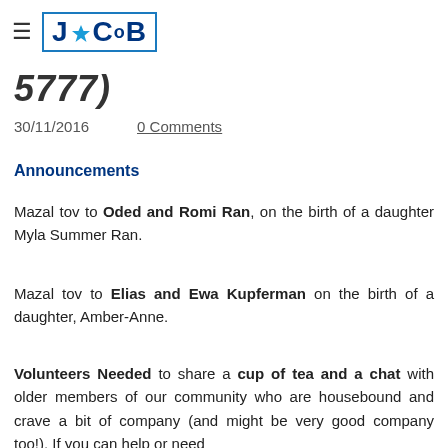≡ J·CoB
5777)
30/11/2016    0 Comments
Announcements
Mazal tov to Oded and Romi Ran, on the birth of a daughter Myla Summer Ran.
Mazal tov to Elias and Ewa Kupferman on the birth of a daughter, Amber-Anne.
Volunteers Needed to share a cup of tea and a chat with older members of our community who are housebound and crave a bit of company (and might be very good company too!). If you can help or need